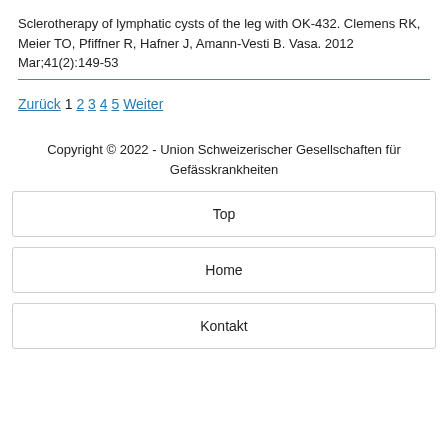Sclerotherapy of lymphatic cysts of the leg with OK-432. Clemens RK, Meier TO, Pfiffner R, Hafner J, Amann-Vesti B. Vasa. 2012 Mar;41(2):149-53
Zurück 1 2 3 4 5 Weiter
Copyright © 2022 - Union Schweizerischer Gesellschaften für Gefässkrankheiten
Top
Home
Kontakt